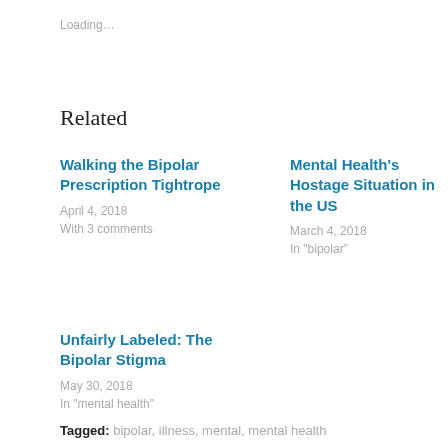Loading...
Related
Walking the Bipolar Prescription Tightrope
April 4, 2018
With 3 comments
Mental Health's Hostage Situation in the US
March 4, 2018
In "bipolar"
Unfairly Labeled: The Bipolar Stigma
May 30, 2018
In "mental health"
Tagged: bipolar, illness, mental, mental health